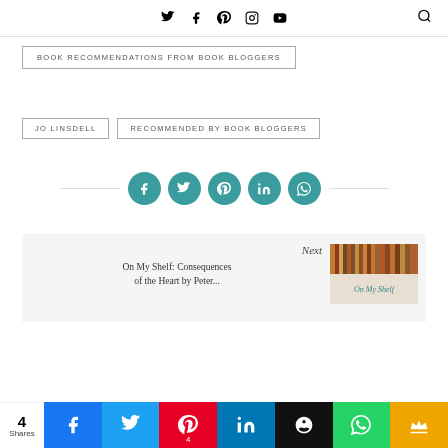Social media icons: Twitter, Facebook, Pinterest, Instagram, YouTube, Search
BOOK RECOMMENDATIONS FROM BOOK BLOGGERS
JO LINSDELL
RECOMMENDED BY BOOK BLOGGERS
[Figure (infographic): Row of five teal/green circular social share buttons: Facebook, Twitter, Pinterest, LinkedIn, WhatsApp]
[Figure (infographic): Next post preview box with book spine image and 'On My Shelf' script text, title: On My Shelf: Consequences of the Heart by Peter...]
Next
On My Shelf: Consequences of the Heart by Peter...
4 Shares — Share bar with Facebook, Twitter, Pinterest (4), LinkedIn, Buffer/Owl, WhatsApp, Crown icons